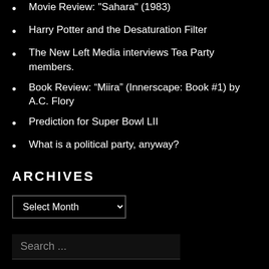Movie Review: "Sahara" (1983)
Harry Potter and the Desaturation Filter
The New Left Media interviews Tea Party members.
Book Review: “Miira” (Innerscape: Book #1) by A.C. Flory
Prediction for Super Bowl LII
What is a political party, anyway?
ARCHIVES
Select Month
Search ...